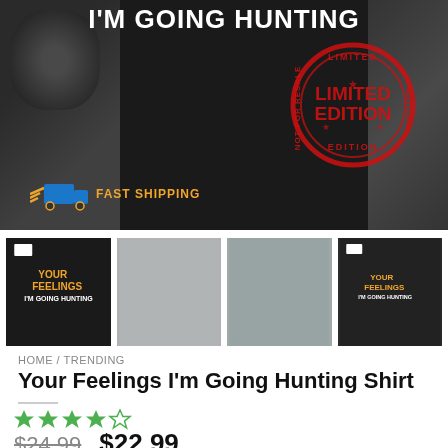[Figure (photo): Hero product image showing a black apron/shirt with text 'I'm Going Hunting', tattoed arms visible, with a 'Limited Edition' red stamp overlay and a 'Fast Shipping' badge with truck icon]
[Figure (photo): Four product thumbnail images: black t-shirt with 'Your Feelings I'm Going Hunting' text, two partially visible product images, and a black hoodie version of the product]
HOME / TRENDING
Your Feelings I'm Going Hunting Shirt
[Figure (other): 4 out of 5 star rating shown in green stars]
$24.99  $22.99